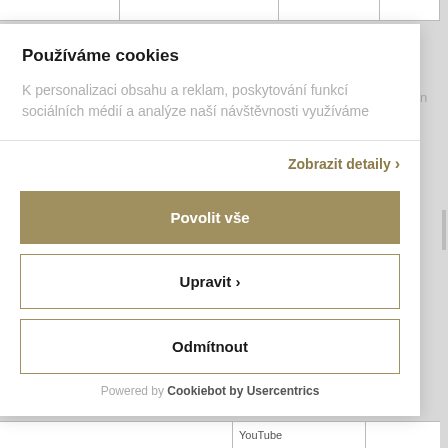Používáme cookies
K personalizaci obsahu a reklam, poskytování funkcí sociálních médií a analýze naší návštěvnosti využíváme
Zobrazit detaily >
Povolit vše
Upravit >
Odmítnout
Powered by Cookiebot by Usercentrics